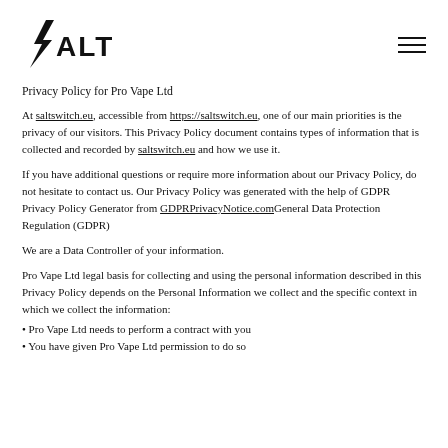[Figure (logo): SALT logo with lightning bolt symbol]
Privacy Policy for Pro Vape Ltd
At saltswitch.eu, accessible from https://saltswitch.eu, one of our main priorities is the privacy of our visitors. This Privacy Policy document contains types of information that is collected and recorded by saltswitch.eu and how we use it.
If you have additional questions or require more information about our Privacy Policy, do not hesitate to contact us. Our Privacy Policy was generated with the help of GDPR Privacy Policy Generator from GDPRPrivacyNotice.comGeneral Data Protection Regulation (GDPR)
We are a Data Controller of your information.
Pro Vape Ltd legal basis for collecting and using the personal information described in this Privacy Policy depends on the Personal Information we collect and the specific context in which we collect the information:
• Pro Vape Ltd needs to perform a contract with you
• You have given Pro Vape Ltd permission to do so